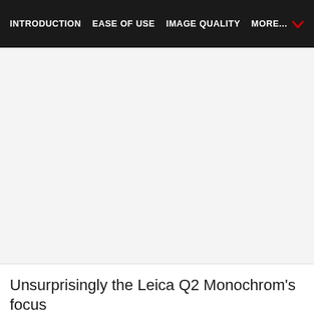INTRODUCTION   EASE OF USE   IMAGE QUALITY   MORE...
[Figure (photo): Large image area, appears blank/white/light gray - photo of Leica Q2 Monochrom subject]
Unsurprisingly the Leica Q2 Monochrom's focus